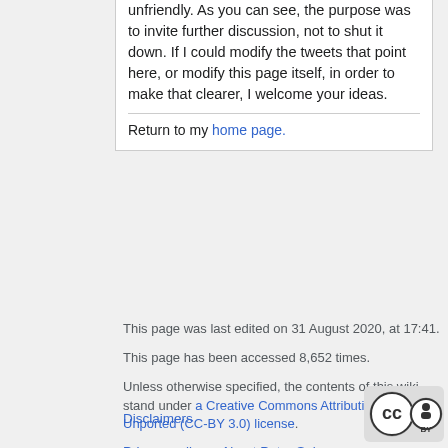unfriendly. As you can see, the purpose was to invite further discussion, not to shut it down. If I could modify the tweets that point here, or modify this page itself, in order to make that clearer, I welcome your ideas.
Return to my home page.
This page was last edited on 31 August 2020, at 17:41.
This page has been accessed 8,652 times.
Unless otherwise specified, the contents of this wiki stand under a Creative Commons Attribution 3.0 Unported (CC-BY 3.0) license.
Privacy policy    About Peter Suber
Disclaimers
[Figure (logo): Creative Commons BY license logo]